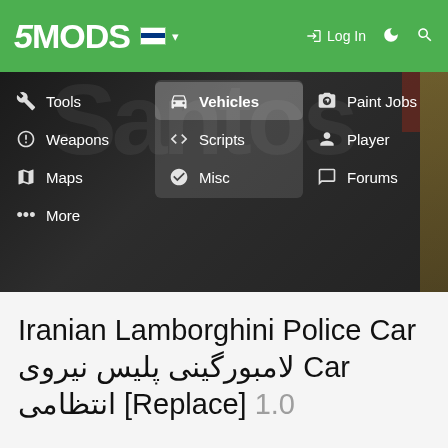5MODS — Log In
[Figure (screenshot): 5MODS website navigation menu with green header bar, dark background, and dropdown menu showing: Tools, Weapons, Maps, More (left column); Vehicles (highlighted), Scripts, Misc (center column); Paint Jobs, Player, Forums (right column)]
Iranian Lamborghini Police Car لامبورگینی پلیس نیروی Car انتظامی [Replace] 1.0